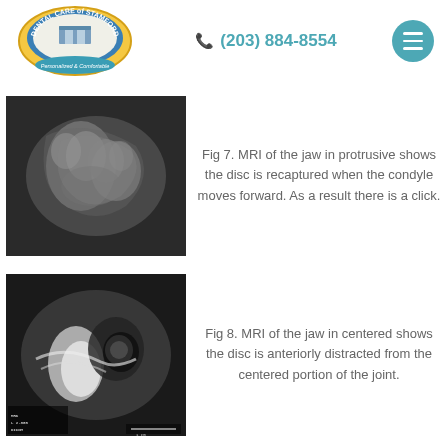Dental Care of Stamford | (203) 884-8554
[Figure (photo): MRI scan of the jaw in protrusive position showing disc recapture as condyle moves forward]
Fig 7. MRI of the jaw in protrusive shows the disc is recaptured when the condyle moves forward. As a result there is a click.
[Figure (photo): MRI scan of the jaw in centered position showing disc anteriorly distracted from the centered portion of the joint]
Fig 8. MRI of the jaw in centered shows the disc is anteriorly distracted from the centered portion of the joint.